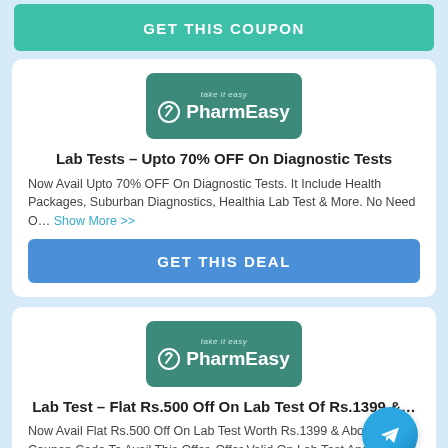GET THIS COUPON
[Figure (logo): PharmEasy logo with tagline 'take it easy' on teal/green background]
Lab Tests – Upto 70% OFF On Diagnostic Tests
Now Avail Upto 70% OFF On Diagnostic Tests. It Include Health Packages, Suburban Diagnostics, Healthia Lab Test & More. No Need O... Show More >>
GET THIS DEAL
[Figure (logo): PharmEasy logo with tagline 'take it easy' on teal/green background]
Lab Test – Flat Rs.500 Off On Lab Test Of Rs.1399 &...
Now Avail Flat Rs.500 Off On Lab Test Worth Rs.1399 & Above. Use Coupon Code To Avail This Offer. Offer Valid On Lab Test And Full C... Show More >>